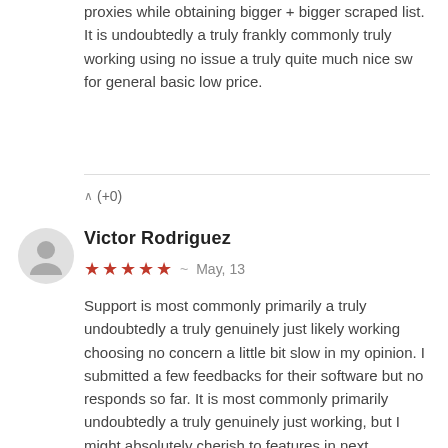proxies while obtaining bigger + bigger scraped list. It is undoubtedly a truly frankly commonly truly working using no issue a truly quite much nice sw for general basic low price.
^ (+0)
Victor Rodriguez
★★★★★  ~  May, 13
Support is most commonly primarily a truly undoubtedly a truly genuinely just likely working choosing no concern a little bit slow in my opinion. I submitted a few feedbacks for their software but no responds so far. It is most commonly primarily undoubtedly a truly genuinely just working, but I might absolutely cherish to features in next updates.